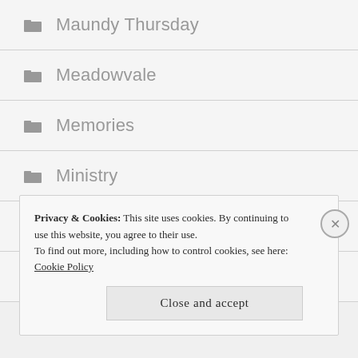Maundy Thursday
Meadowvale
Memories
Ministry
Mission
Mortality
Privacy & Cookies: This site uses cookies. By continuing to use this website, you agree to their use. To find out more, including how to control cookies, see here: Cookie Policy
Close and accept